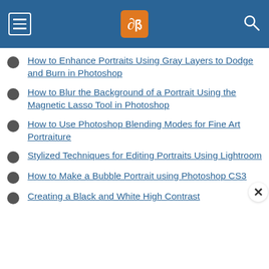dPS navigation header with hamburger menu, logo, and search icon
How to Enhance Portraits Using Gray Layers to Dodge and Burn in Photoshop
How to Blur the Background of a Portrait Using the Magnetic Lasso Tool in Photoshop
How to Use Photoshop Blending Modes for Fine Art Portraiture
Stylized Techniques for Editing Portraits Using Lightroom
How to Make a Bubble Portrait using Photoshop CS3
Creating a Black and White High Contrast